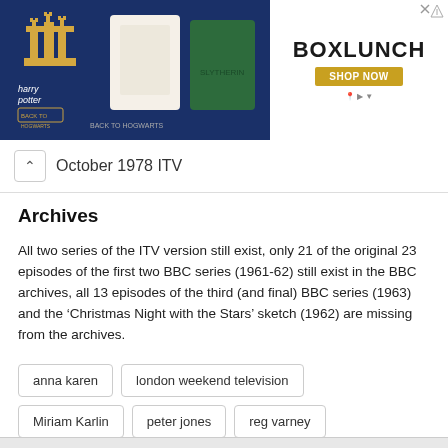[Figure (photo): Advertisement banner showing Harry Potter merchandise and BoxLunch branding with 'Shop Now' button]
October 1978 ITV
Archives
All two series of the ITV version still exist, only 21 of the original 23 episodes of the first two BBC series (1961-62) still exist in the BBC archives, all 13 episodes of the third (and final) BBC series (1963) and the ‘Christmas Night with the Stars’ sketch (1962) are missing from the archives.
anna karen
london weekend television
Miriam Karlin
peter jones
reg varney